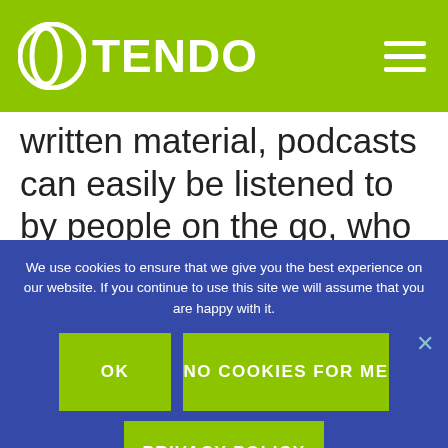OTENDO
written material, podcasts can easily be listened to by people on the go, who can enjoy it while commuting, working out, or walking the dog. The easier it
We use cookies to ensure that we give you the best experience on our website. If you continue to use this site we will assume that you are happy with it.
OK
NO COOKIES FOR ME
PRIVACY POLICY